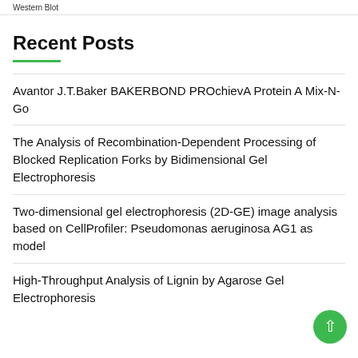Western Blot
Recent Posts
Avantor J.T.Baker BAKERBOND PROchievA Protein A Mix-N-Go
The Analysis of Recombination-Dependent Processing of Blocked Replication Forks by Bidimensional Gel Electrophoresis
Two-dimensional gel electrophoresis (2D-GE) image analysis based on CellProfiler: Pseudomonas aeruginosa AG1 as model
High-Throughput Analysis of Lignin by Agarose Gel Electrophoresis